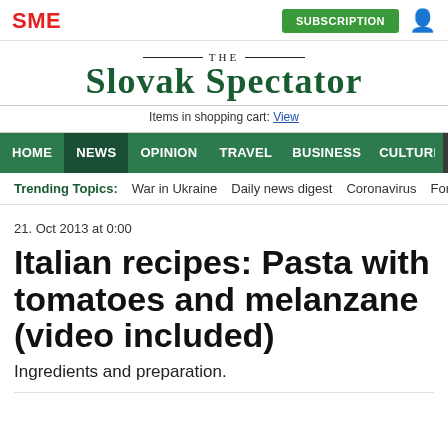SME | SUBSCRIPTION
THE SLOVAK SPECTATOR
Items in shopping cart: View
HOME NEWS OPINION TRAVEL BUSINESS CULTURE ≡ MENU 🔍
Trending Topics: War in Ukraine Daily news digest Coronavirus For
21. Oct 2013 at 0:00
Italian recipes: Pasta with tomatoes and melanzane (video included)
Ingredients and preparation.